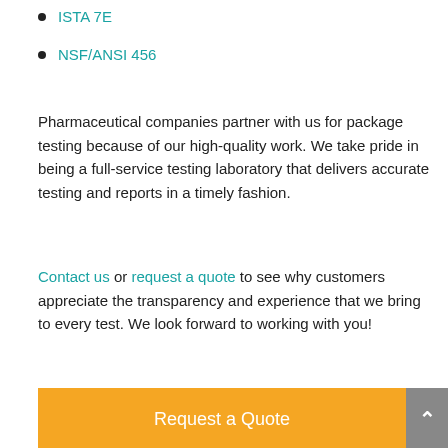ISTA 7E
NSF/ANSI 456
Pharmaceutical companies partner with us for package testing because of our high-quality work. We take pride in being a full-service testing laboratory that delivers accurate testing and reports in a timely fashion.
Contact us or request a quote to see why customers appreciate the transparency and experience that we bring to every test. We look forward to working with you!
[Figure (other): Orange 'Request a Quote' button with a grey scroll-to-top arrow button on the right]
| Common Test Standards |
| --- |
| ASTM Standards |
| ISTA Standards |
| Cold Chain Packaging |
[Figure (other): Chat widget overlay showing an offline message icon with 'We're offline! Leave a ...' text]